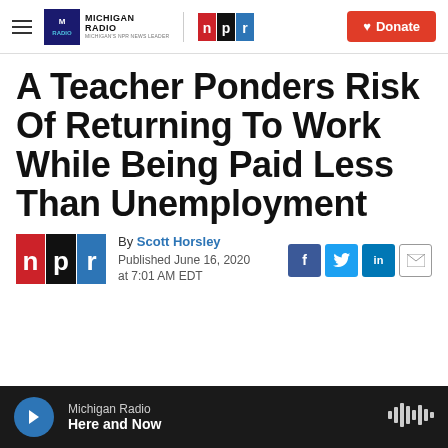Michigan Radio | NPR | Donate
A Teacher Ponders Risk Of Returning To Work While Being Paid Less Than Unemployment
By Scott Horsley
Published June 16, 2020 at 7:01 AM EDT
[Figure (logo): NPR logo (n p r in red, black, blue squares)]
Michigan Radio Here and Now